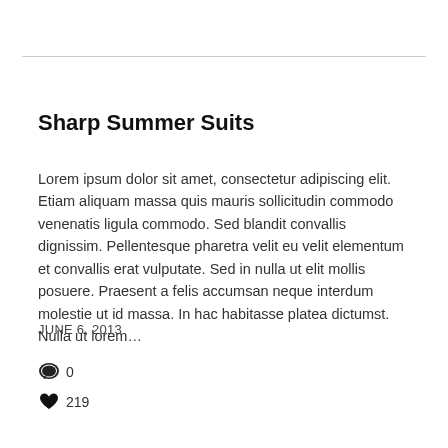Sharp Summer Suits
Lorem ipsum dolor sit amet, consectetur adipiscing elit. Etiam aliquam massa quis mauris sollicitudin commodo venenatis ligula commodo. Sed blandit convallis dignissim. Pellentesque pharetra velit eu velit elementum et convallis erat vulputate. Sed in nulla ut elit mollis posuere. Praesent a felis accumsan neque interdum molestie ut id massa. In hac habitasse platea dictumst. Nulla ut lorem…
JUNE 6, 2013
0
219